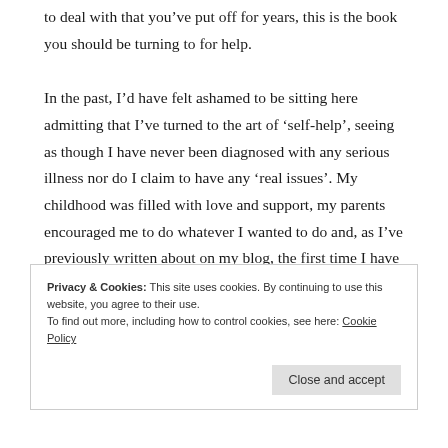to deal with that you've put off for years, this is the book you should be turning to for help.
In the past, I'd have felt ashamed to be sitting here admitting that I've turned to the art of 'self-help', seeing as though I have never been diagnosed with any serious illness nor do I claim to have any 'real issues'. My childhood was filled with love and support, my parents encouraged me to do whatever I wanted to do and, as I've previously written about on my blog, the first time I have endured grief of any kind was earlier this
Privacy & Cookies: This site uses cookies. By continuing to use this website, you agree to their use.
To find out more, including how to control cookies, see here: Cookie Policy
Close and accept